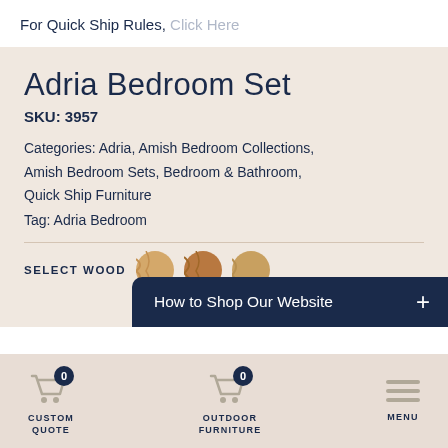For Quick Ship Rules, Click Here
Adria Bedroom Set
SKU: 3957
Categories: Adria, Amish Bedroom Collections, Amish Bedroom Sets, Bedroom & Bathroom, Quick Ship Furniture
Tag: Adria Bedroom
SELECT WOOD
How to Shop Our Website +
CUSTOM QUOTE 0
OUTDOOR FURNITURE 0
MENU